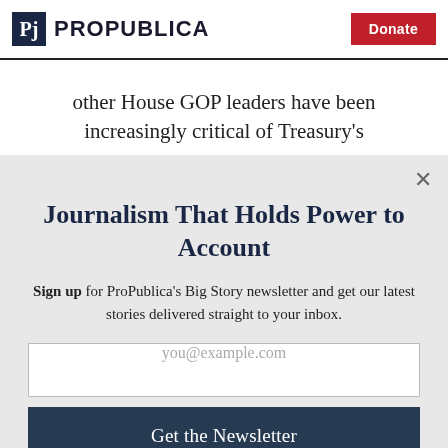ProPublica | Donate
other House GOP leaders have been increasingly critical of Treasury's
Journalism That Holds Power to Account
Sign up for ProPublica's Big Story newsletter and get our latest stories delivered straight to your inbox.
you@example.com
Get the Newsletter
No thanks, I'm all set
This site is protected by reCAPTCHA and the Google Privacy Policy and Terms of Service apply.